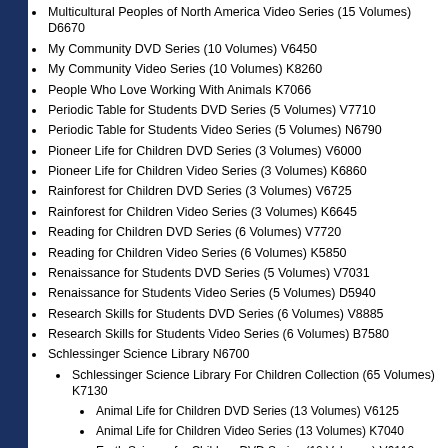Multicultural Peoples of North America Video Series (15 Volumes) D6670
My Community DVD Series (10 Volumes) V6450
My Community Video Series (10 Volumes) K8260
People Who Love Working With Animals K7066
Periodic Table for Students DVD Series (5 Volumes) V7710
Periodic Table for Students Video Series (5 Volumes) N6790
Pioneer Life for Children DVD Series (3 Volumes) V6000
Pioneer Life for Children Video Series (3 Volumes) K6860
Rainforest for Children DVD Series (3 Volumes) V6725
Rainforest for Children Video Series (3 Volumes) K6645
Reading for Children DVD Series (6 Volumes) V7720
Reading for Children Video Series (6 Volumes) K5850
Renaissance for Students DVD Series (5 Volumes) V7031
Renaissance for Students Video Series (5 Volumes) D5940
Research Skills for Students DVD Series (6 Volumes) V8885
Research Skills for Students Video Series (6 Volumes) B7580
Schlessinger Science Library N6700
Schlessinger Science Library For Children Collection (65 Volumes) K7130
Animal Life for Children DVD Series (13 Volumes) V6125
Animal Life for Children Video Series (13 Volumes) K7040
Earth Science for Children DVD Series (10 Volumes) V6110
Earth Science for Children Video Series (10 Volumes) K7055
Ecosystems for Children DVD Series (3 Volumes) V6095
Ecosystems for Children Video Series (3 Volumes) K7020
Energy for Children DVD Series (5 Volumes) V6510
Energy for Children Video Series (5 Volumes) K7070